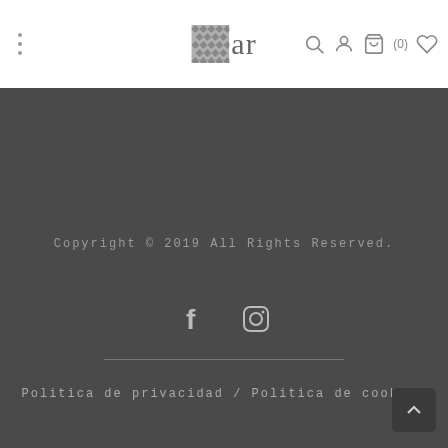[Figure (logo): Website header with hamburger menu dots on left, centered 'ar' logo with chevron pattern icon, and right-side icons: search, user, cart (0), wishlist heart]
Copyright © 2019 All Rights Reserved.
[Figure (illustration): Social media icons: Facebook (f) and Instagram (camera) icons in light grey on dark background]
Politica de privacidad / Politica de cookies